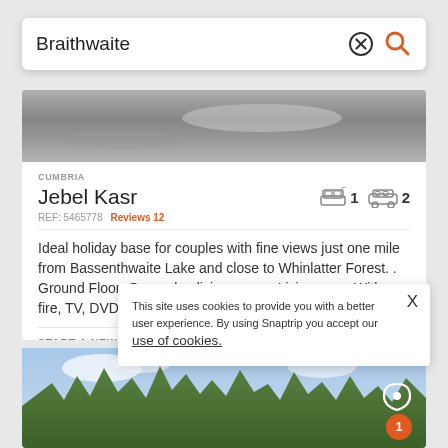Braithwaite
[Figure (photo): Grayscale outdoor/landscape photo strip at top of property card]
CUMBRIA
Jebel Kasr
REF: 5465778   Reviews 12
Ideal holiday base for couples with fine views just one mile from Bassenthwaite Lake and close to Whinlatter Forest. . Ground Floor: Open plan living space. Living area: With gas fire, TV, DVD...
START A NEW SEARCH
View
This site uses cookies to provide you with a better user experience. By using Snaptrip you accept our use of cookies.
[Figure (photo): Landscape photo with trees and sky at bottom of page]